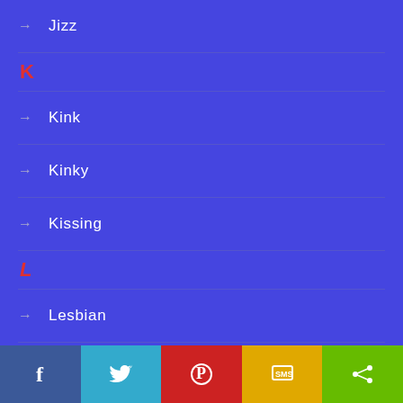→ Jizz
K
→ Kink
→ Kinky
→ Kissing
L
→ Lesbian
→ Lesbian MILF
→ Lesbian Teen